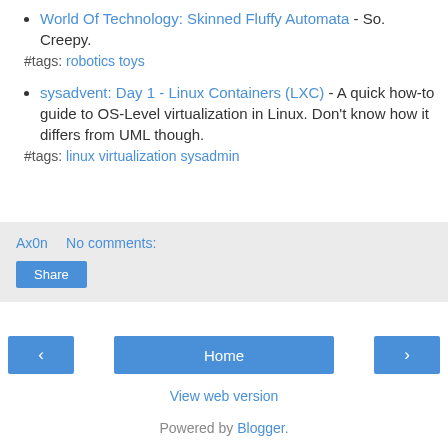World Of Technology: Skinned Fluffy Automata - So. Creepy.
#tags: robotics toys
sysadvent: Day 1 - Linux Containers (LXC) - A quick how-to guide to OS-Level virtualization in Linux. Don't know how it differs from UML though.
#tags: linux virtualization sysadmin
Ax0n   No comments:
Share
‹
Home
›
View web version
Powered by Blogger.